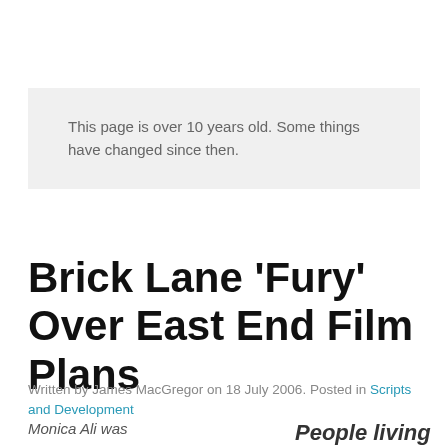This page is over 10 years old. Some things have changed since then.
Brick Lane 'Fury' Over East End Film Plans
Written by James MacGregor on 18 July 2006. Posted in Scripts and Development
[Figure (photo): Monica Ali was [broken image placeholder]]
People living